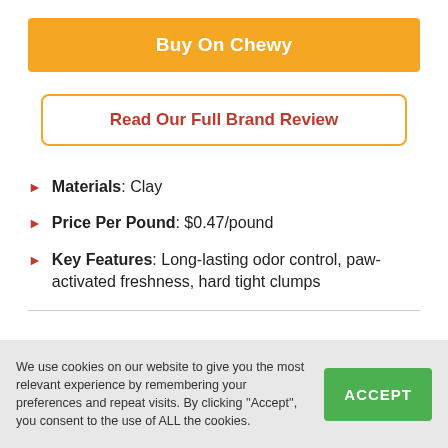Buy On Chewy
Read Our Full Brand Review
Materials: Clay
Price Per Pound: $0.47/pound
Key Features: Long-lasting odor control, paw-activated freshness, hard tight clumps
We use cookies on our website to give you the most relevant experience by remembering your preferences and repeat visits. By clicking ''Accept'', you consent to the use of ALL the cookies.